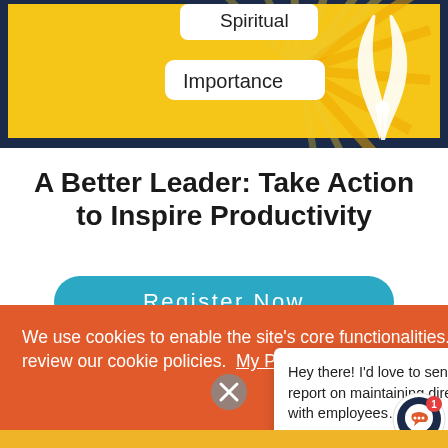[Figure (illustration): Decorative book cover illustration with rays of light background (yellow/gold), white praying hands silhouette, dark navy border. Labels visible: 'Spiritual' (partially cut off at top) and 'Importance' in rounded rectangle badges.]
A Better Leader: Take Action to Inspire Productivity
[Figure (other): Teal/cyan rounded rectangle button with white text 'Register Now']
We use cookies to enable the site’s core functionalities. Please review our cookie policies.  My Preferences
[Figure (other): Grey circle with X close button]
Hey there! I’d love to send you our latest report on maintaining direct relationships with employees…
[Figure (other): Chat bubble icon with orange/navy colors, notification badge showing 1]